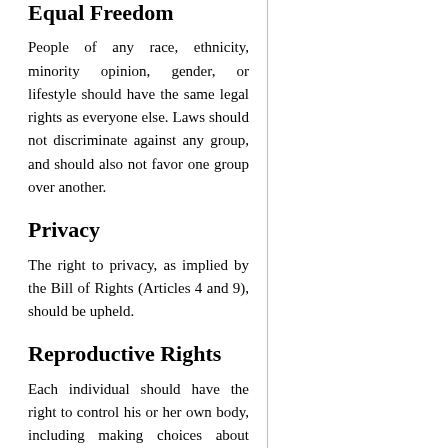Equal Freedom
People of any race, ethnicity, minority opinion, gender, or lifestyle should have the same legal rights as everyone else. Laws should not discriminate against any group, and should also not favor one group over another.
Privacy
The right to privacy, as implied by the Bill of Rights (Articles 4 and 9), should be upheld.
Reproductive Rights
Each individual should have the right to control his or her own body, including making choices about family planning. The